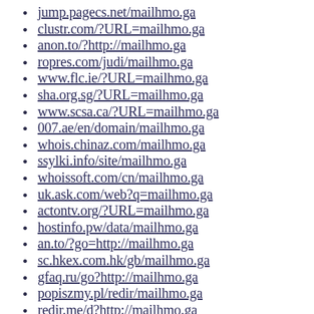jump.pagecs.net/mailhmo.ga
clustr.com/?URL=mailhmo.ga
anon.to/?http://mailhmo.ga
ropres.com/judi/mailhmo.ga
www.flc.ie/?URL=mailhmo.ga
sha.org.sg/?URL=mailhmo.ga
www.scsa.ca/?URL=mailhmo.ga
007.ae/en/domain/mailhmo.ga
whois.chinaz.com/mailhmo.ga
ssylki.info/site/mailhmo.ga
whoissoft.com/cn/mailhmo.ga
uk.ask.com/web?q=mailhmo.ga
actontv.org/?URL=mailhmo.ga
hostinfo.pw/data/mailhmo.ga
an.to/?go=http://mailhmo.ga
sc.hkex.com.hk/gb/mailhmo.ga
gfaq.ru/go?http://mailhmo.ga
popiszmy.pl/redir/mailhmo.ga
redir.me/d?http://mailhmo.ga